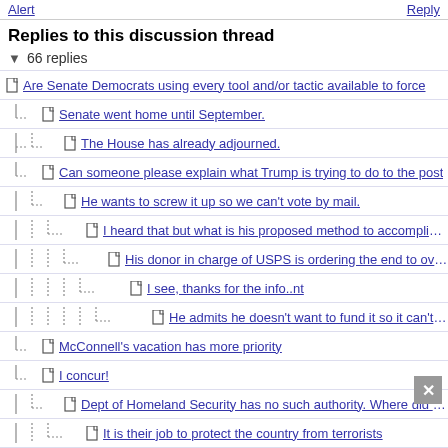Alert | Reply
Replies to this discussion thread
▼ 66 replies
Are Senate Democrats using every tool and/or tactic available to force
Senate went home until September.
The House has already adjourned.
Can someone please explain what Trump is trying to do to the post
He wants to screw it up so we can't vote by mail.
I heard that but what is his proposed method to accomplish that?
His donor in charge of USPS is ordering the end to overtime,
I see, thanks for the info..nt
He admits he doesn't want to fund it so it can't deliver
McConnell's vacation has more priority
I concur!
Dept of Homeland Security has no such authority. Where did you
It is their job to protect the country from terrorists
You are very eager to throw out the Constitution, as is Trump.
It's not that, Hekate
Uh huh. As long as you understand that what you are
I think you are misunderstanding my intention